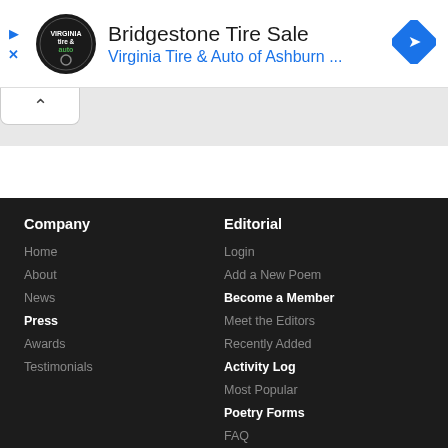[Figure (screenshot): Advertisement banner for Bridgestone Tire Sale by Virginia Tire & Auto of Ashburn, with company logo on left and blue diamond navigation icon on right. Small play and X controls on far left.]
[Figure (screenshot): Collapse/minimize tab with upward caret arrow, white background with border.]
Company
Home
About
News
Press
Awards
Testimonials
Editorial
Login
Add a New Poem
Become a Member
Meet the Editors
Recently Added
Activity Log
Most Popular
Poetry Forms
FAQ
Services
Legal & Contact